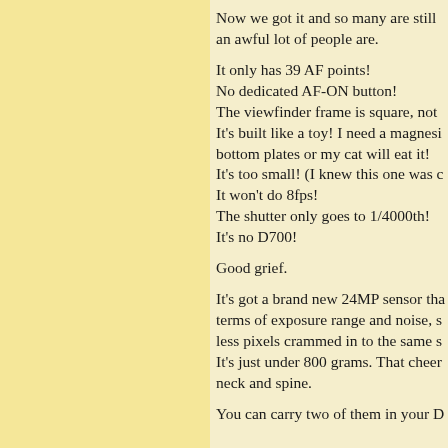Now we got it and so many are still an awful lot of people are.
It only has 39 AF points!
No dedicated AF-ON button!
The viewfinder frame is square, not
It's built like a toy! I need a magnesi bottom plates or my cat will eat it!
It's too small! (I knew this one was c
It won't do 8fps!
The shutter only goes to 1/4000th!
It's no D700!
Good grief.
It's got a brand new 24MP sensor tha terms of exposure range and noise, s less pixels crammed in to the same s It's just under 800 grams. That cheer neck and spine.
You can carry two of them in your D